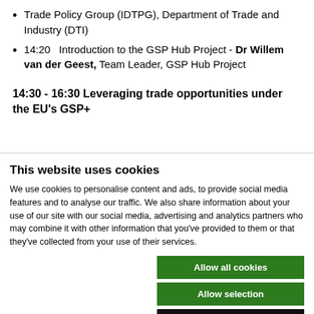Trade Policy Group (IDTPG), Department of Trade and Industry (DTI)
14:20   Introduction to the GSP Hub Project - Dr Willem van der Geest, Team Leader, GSP Hub Project
14:30 - 16:30 Leveraging trade opportunities under the EU's GSP+
This website uses cookies
We use cookies to personalise content and ads, to provide social media features and to analyse our traffic. We also share information about your use of our site with our social media, advertising and analytics partners who may combine it with other information that you've provided to them or that they've collected from your use of their services.
Allow all cookies | Allow selection | Use necessary cookies only
Necessary | Preferences | Statistics | Marketing | Show details